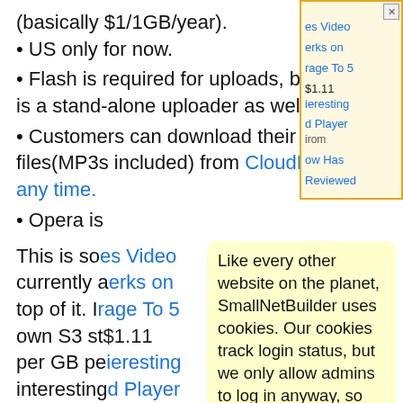(basically $1/1GB/year).
• US only for now.
• Flash is required for uploads, but there is a stand-alone uploader as well.
• Customers can download their files(MP3s included) from CloudDrive at any time.
• Opera is[...]
This is som[...] ies Video currently a[...] erks on top of it. In[...] rage To 5 own S3 st[...] $1.11 per GB pe[...] ieresting interesting[...] d Player here. Look[...] ow Has
Links: Clo[...] CloudPlay[...] Reviewed
[Figure (screenshot): Cookie consent popup overlay with yellow background reading: 'Like every other website on the planet, SmallNetBuilder uses cookies. Our cookies track login status, but we only allow admins to log in anyway, so those don't apply to you. Any other cookies you pick up during your visit come from advertisers, which we don't control. If you continue to use the site, you agree to tolerate our use of cookies. Thank you!']